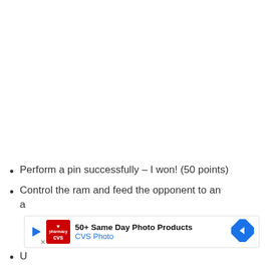Perform a pin successfully – I won! (50 points)
Control the ram and feed the opponent to an a
[Figure (other): Advertisement banner for CVS Photo showing '50+ Same Day Photo Products' with CVS Pharmacy logo and navigation arrow icon]
U